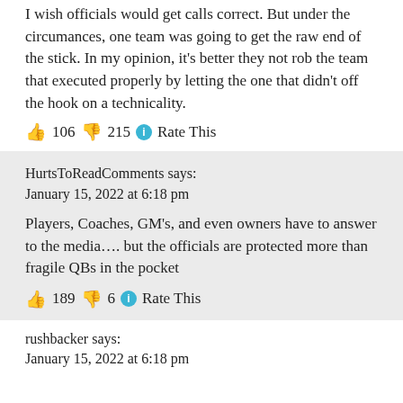I wish officials would get calls correct. But under the circumances, one team was going to get the raw end of the stick. In my opinion, it's better they not rob the team that executed properly by letting the one that didn't off the hook on a technicality.
👍 106 👎 215 ℹ Rate This
HurtsToReadComments says:
January 15, 2022 at 6:18 pm
Players, Coaches, GM's, and even owners have to answer to the media…. but the officials are protected more than fragile QBs in the pocket
👍 189 👎 6 ℹ Rate This
rushbacker says:
January 15, 2022 at 6:18 pm